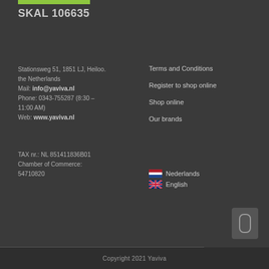SKAL 106635
Stationsweg 51, 1851 LJ, Heiloo. the Netherlands
Mail: info@yaviva.nl
Phone: 0343-755287 (8:30 – 11:00 AM)
Web: www.yaviva.nl
Terms and Conditions
Register to shop online
Shop online
Our brands
TAX nr.: NL 851411836B01
Chamber of Commerce: 54710820
Nederlands
English
Copyright 2021 Yaviva